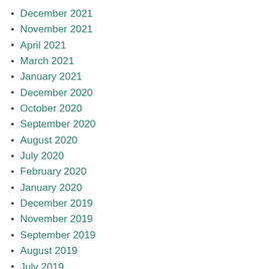December 2021
November 2021
April 2021
March 2021
January 2021
December 2020
October 2020
September 2020
August 2020
July 2020
February 2020
January 2020
December 2019
November 2019
September 2019
August 2019
July 2019
June 2019
May 2019